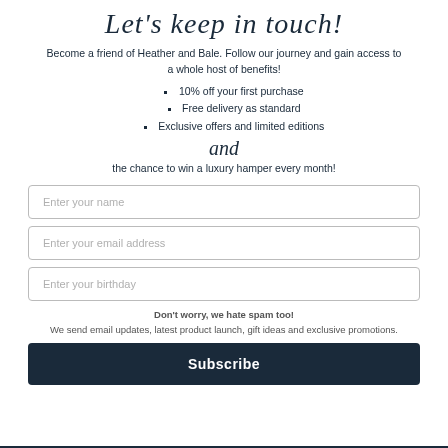Let's keep in touch!
Become a friend of Heather and Bale. Follow our journey and gain access to a whole host of benefits!
10% off your first purchase
Free delivery as standard
Exclusive offers and limited editions
and
the chance to win a luxury hamper every month!
Enter your name
Enter your email address
Enter your birthday
Don't worry, we hate spam too!
We send email updates, latest product launch, gift ideas and exclusive promotions.
Subscribe